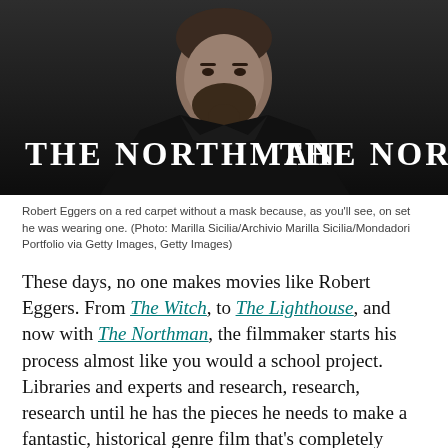[Figure (photo): Robert Eggers standing in front of a dark backdrop with 'THE NORTHMAN' text visible, wearing a black jacket with a beard and shaved head]
Robert Eggers on a red carpet without a mask because, as you'll see, on set he was wearing one. (Photo: Marilla Sicilia/Archivio Marilla Sicilia/Mondadori Portfolio via Getty Images, Getty Images)
These days, no one makes movies like Robert Eggers. From The Witch, to The Lighthouse, and now with The Northman, the filmmaker starts his process almost like you would a school project. Libraries and experts and research, research, research until he has the pieces he needs to make a fantastic, historical genre film that's completely based in reality, but not at all real.
The Northman, in theatres Friday, is all that and more. It's